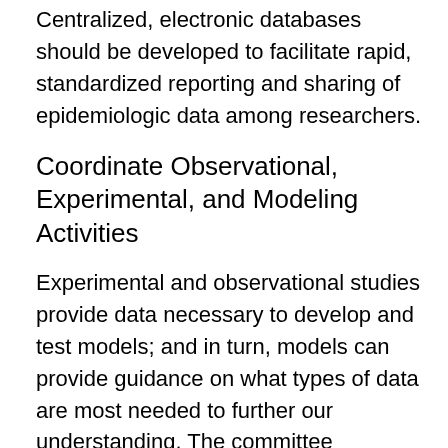Centralized, electronic databases should be developed to facilitate rapid, standardized reporting and sharing of epidemiologic data among researchers.
Coordinate Observational, Experimental, and Modeling Activities
Experimental and observational studies provide data necessary to develop and test models; and in turn, models can provide guidance on what types of data are most needed to further our understanding. The committee encourages the establishment of a climate and infectious disease research center dedicated to fostering meaningful interaction among the scientists involved in these different research activities through long-term collaborative studies, short-term information-sharing projects, and